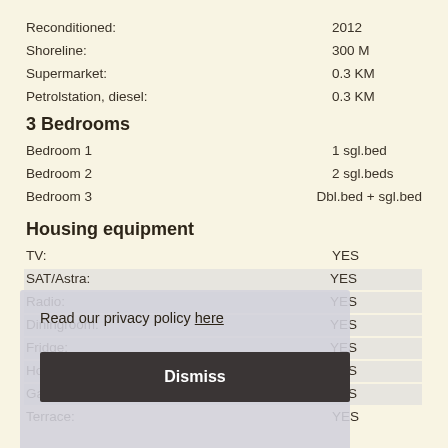Reconditioned: 2012
Shoreline: 300 M
Supermarket: 0.3 KM
Petrolstation, diesel: 0.3 KM
3 Bedrooms
Bedroom 1: 1 sgl.bed
Bedroom 2: 2 sgl.beds
Bedroom 3: Dbl.bed + sgl.bed
Housing equipment
TV: YES
SAT/Astra: YES
Radio: YES
Diningroom: YES
Fridge: YES
Hoover: YES
Gardenfurniture/BBQ: YES
Terrace: YES
Read our privacy policy here
Dismiss